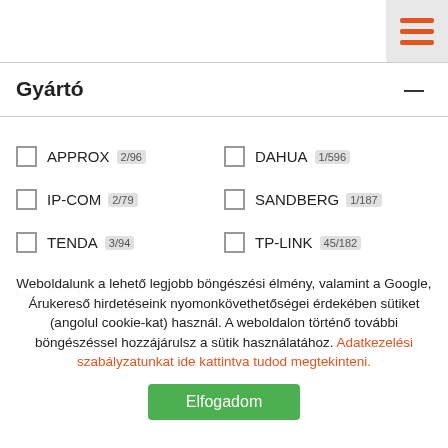Gyártó
APPROX 2/96
DAHUA 1/596
IP-COM 2/79
SANDBERG 1/187
TENDA 3/94
TP-LINK 45/182
UBiQUiTi 3/83
Weboldalunk a lehető legjobb böngészési élmény, valamint a Google, Árukereső hirdetéseink nyomonkövethetőségei érdekében sütiket (angolul cookie-kat) használ. A weboldalon történő további böngészéssel hozzájárulsz a sütik használatához. Adatkezelési szabályzatunkat ide kattintva tudod megtekinteni.
Elfogadom